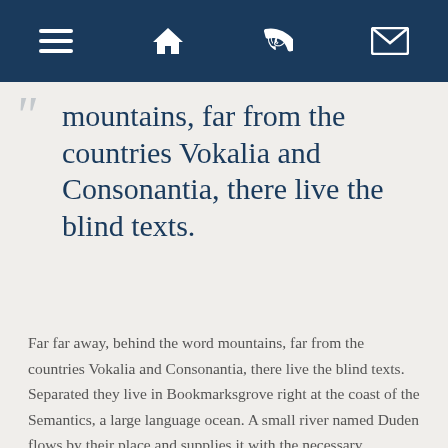[navigation bar with menu, home, phone, and email icons]
mountains, far from the countries Vokalia and Consonantia, there live the blind texts.
Far far away, behind the word mountains, far from the countries Vokalia and Consonantia, there live the blind texts. Separated they live in Bookmarksgrove right at the coast of the Semantics, a large language ocean. A small river named Duden flows by their place and supplies it with the necessary regelialia. It is a paradisematic country, in which roasted parts of sentences fly into your mouth. Even the all-powerful Pointing has no control about the blind texts it is an almost unorthographic life One day however a small line